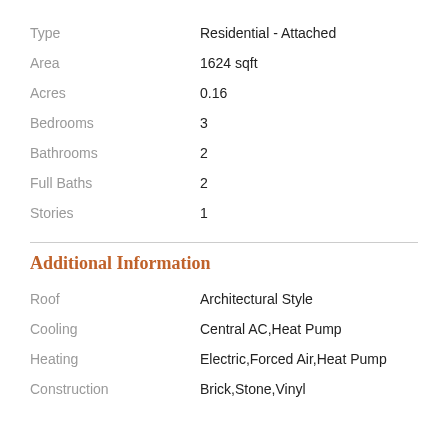| Field | Value |
| --- | --- |
| Type | Residential - Attached |
| Area | 1624 sqft |
| Acres | 0.16 |
| Bedrooms | 3 |
| Bathrooms | 2 |
| Full Baths | 2 |
| Stories | 1 |
Additional Information
| Field | Value |
| --- | --- |
| Roof | Architectural Style |
| Cooling | Central AC,Heat Pump |
| Heating | Electric,Forced Air,Heat Pump |
| Construction | Brick,Stone,Vinyl |